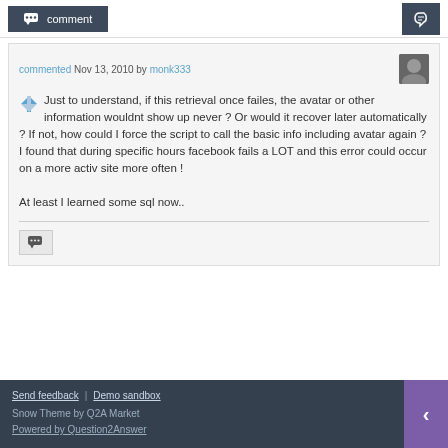comment
commented Nov 13, 2010 by monk333
Just to understand, if this retrieval once failes, the avatar or other information wouldnt show up never ? Or would it recover later automatically ? If not, how could I force the script to call the basic info including avatar again ? I found that during specific hours facebook fails a LOT and this error could occur on a more activ site more often !

At least I learned some sql now..
Send feedback | Demo sandbox
Snow Theme by Q2A Market
Powered by Question2Answer